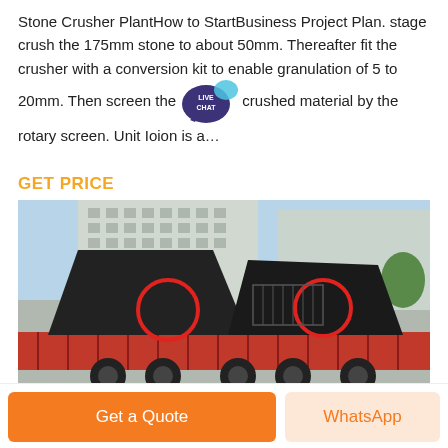Stone Crusher PlantHow to StartBusiness Project Plan. stage crush the 175mm stone to about 50mm. Thereafter fit the crusher with a conversion kit to enable granulation of 5 to 20mm. Then screen the crushed material by the rotary screen. Unit Ioion is a…
GET PRICE
[Figure (photo): Stone crusher machinery loaded on a flatbed truck trailer, with two large black crusher units with red circular wheel accents, in front of a multi-story building.]
Get a Quote
WhatsApp